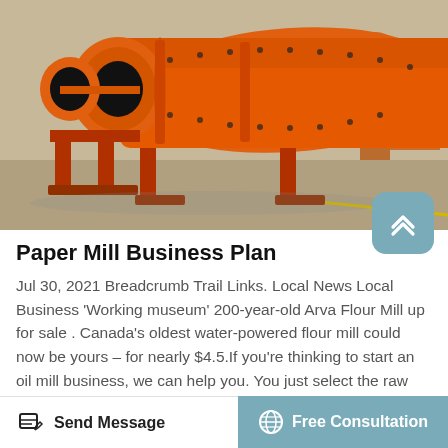[Figure (photo): Orange industrial ball mill machinery sitting on metal stands outdoors on a concrete surface, with a large cylindrical drum and another orange machine visible in the background.]
Paper Mill Business Plan
Jul 30, 2021 Breadcrumb Trail Links. Local News Local Business 'Working museum' 200-year-old Arva Flour Mill up for sale . Canada's oldest water-powered flour mill could now be yours – for nearly $4.5.If you're thinking to start an oil mill business, we can help you. You just select the raw
Send Message   Free Consultation